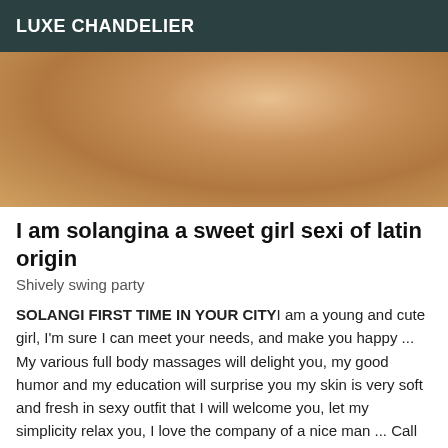LUXE CHANDELIER
[Figure (photo): Close-up photo of a hand on skin, warm tones]
I am solangina a sweet girl sexi of latin origin
Shively swing party
SOLANGI FIRST TIME IN YOUR CITYI am a young and cute girl, I'm sure I can meet your needs, and make you happy ... My various full body massages will delight you, my good humor and my education will surprise you my skin is very soft and fresh in sexy outfit that I will welcome you, let my simplicity relax you, I love the company of a nice man ... Call me soon big kisses and a soon ... kisses!! possible